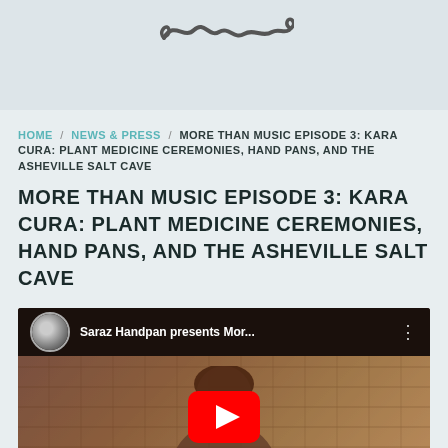[Figure (illustration): Decorative scrollwork/squiggle divider at top of page]
HOME / NEWS & PRESS / MORE THAN MUSIC EPISODE 3: KARA CURA: PLANT MEDICINE CEREMONIES, HAND PANS, AND THE ASHEVILLE SALT CAVE
MORE THAN MUSIC EPISODE 3: KARA CURA: PLANT MEDICINE CEREMONIES, HAND PANS, AND THE ASHEVILLE SALT CAVE
[Figure (screenshot): YouTube video embed showing 'Saraz Handpan presents Mor...' with a woman smiling in a stone cave setting and YouTube play button overlay]